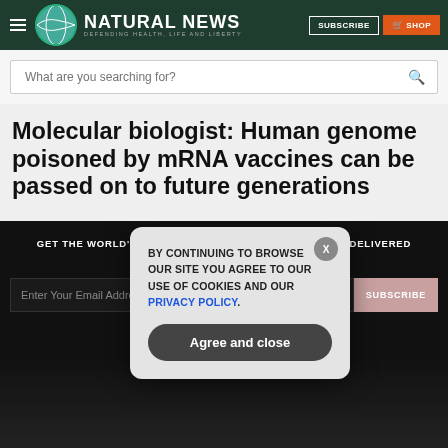NATURAL NEWS — DEFENDING HEALTH, LIFE AND LIBERTY
What are you searching for?
Molecular biologist: Human genome poisoned by mRNA vaccines can be passed on to future generations
GET THE WORLD'S BEST NATURAL HEALTH NEWSLETTER DELIVERED STRAIGHT TO YOUR INBOX
BY CONTINUING TO BROWSE OUR SITE YOU AGREE TO OUR USE OF COOKIES AND OUR PRIVACY POLICY. Agree and close